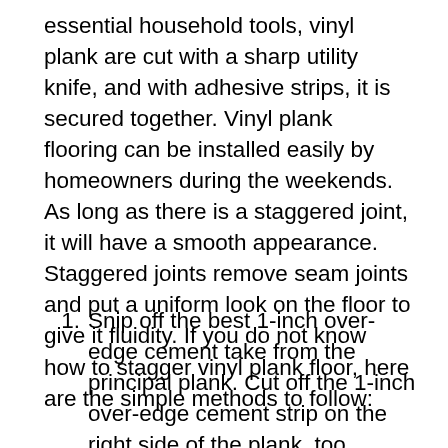essential household tools, vinyl plank are cut with a sharp utility knife, and with adhesive strips, it is secured together. Vinyl plank flooring can be installed easily by homeowners during the weekends. As long as there is a staggered joint, it will have a smooth appearance. Staggered joints remove seam joints and put a uniform look on the floor to give it fluidity. If you do not know how to stagger vinyl plank floor, here are the simple methods to follow:
Snip off the best 1-inch over-edge cement take from the principal plank. Cut off the 1-inch over-edge cement strip on the right side of the plank, too. Cutting off these light strips keeps the plank from inclining toward the divider.